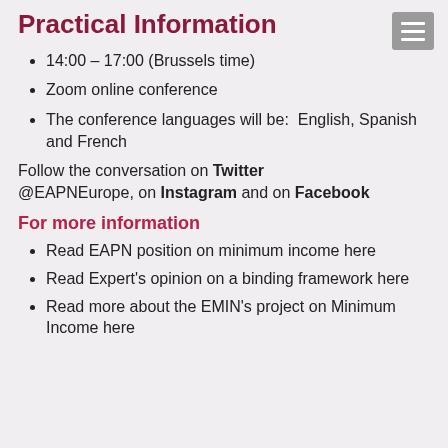Practical Information
14:00 – 17:00 (Brussels time)
Zoom online conference
The conference languages will be:  English, Spanish and French
Follow the conversation on Twitter @EAPNEurope, on Instagram and on Facebook
For more information
Read EAPN position on minimum income here
Read Expert's opinion on a binding framework here
Read more about the EMIN's project on Minimum Income here